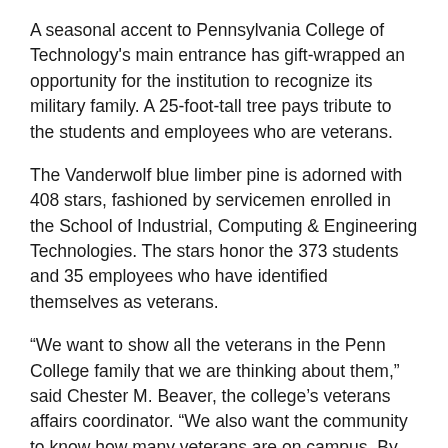A seasonal accent to Pennsylvania College of Technology's main entrance has gift-wrapped an opportunity for the institution to recognize its military family. A 25-foot-tall tree pays tribute to the students and employees who are veterans.
The Vanderwolf blue limber pine is adorned with 408 stars, fashioned by servicemen enrolled in the School of Industrial, Computing & Engineering Technologies. The stars honor the 373 students and 35 employees who have identified themselves as veterans.
“We want to show all the veterans in the Penn College family that we are thinking about them,” said Chester M. Beaver, the college’s veterans affairs coordinator. “We also want the community to know how many veterans are on campus. By seeing the large number of stars on the tree, we hope people understand that veterans are an important part of the college community.”